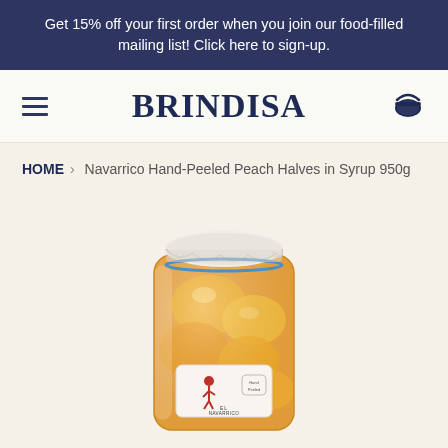Get 15% off your first order when you join our food-filled mailing list! Click here to sign-up.
BRINDISA
HOME › Navarrico Hand-Peeled Peach Halves in Syrup 950g
[Figure (photo): A large glass jar filled with peach halves in golden syrup, topped with a white fabric cover secured with a blue rubber band, and bearing a red-figure Navarrico label on the front.]